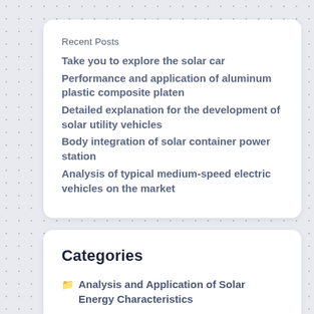Recent Posts
Take you to explore the solar car
Performance and application of aluminum plastic composite platen
Detailed explanation for the development of solar utility vehicles
Body integration of solar container power station
Analysis of typical medium-speed electric vehicles on the market
Categories
Analysis and Application of Solar Energy Characteristics
Basic knowledge of solar energy